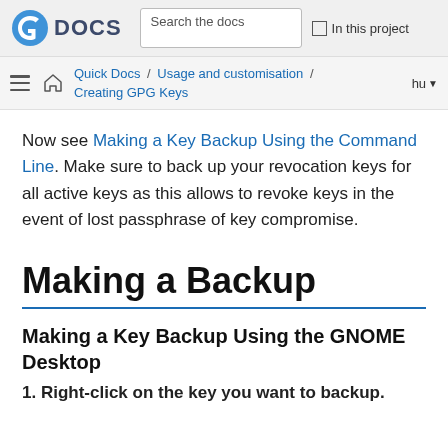DOCS  Search the docs  In this project
Quick Docs / Usage and customisation / Creating GPG Keys  hu
Now see Making a Key Backup Using the Command Line. Make sure to back up your revocation keys for all active keys as this allows to revoke keys in the event of lost passphrase of key compromise.
Making a Backup
Making a Key Backup Using the GNOME Desktop
1. Right-click on the key you want to backup.